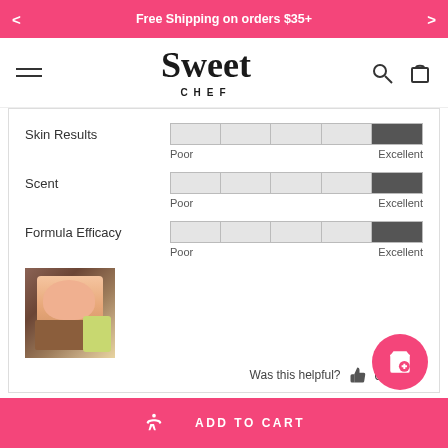< Free Shipping on orders $35+ >
[Figure (logo): Sweet Chef brand logo with script font and CHEF text below]
[Figure (infographic): Rating bars for Skin Results, Scent, and Formula Efficacy, each showing a segmented bar from Poor to Excellent with the last segment filled dark]
[Figure (photo): Small thumbnail photo of a person holding a product]
Was this helpful? 0 0
ADD TO CART